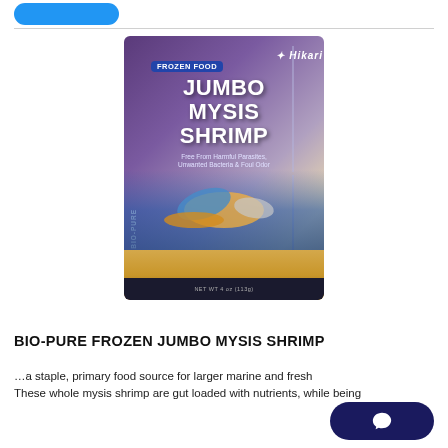[Figure (photo): Product package photo of Hikari Bio-Pure Frozen Jumbo Mysis Shrimp. Purple and blue foil package with fish imagery and the product name 'JUMBO MYSIS SHRIMP' on the front. Side text reads 'HIKARI BIO-PURE'.]
BIO-PURE FROZEN JUMBO MYSIS SHRIMP
…a staple, primary food source for larger marine and fresh… These whole mysis shrimp are gut loaded with nutrients, while being